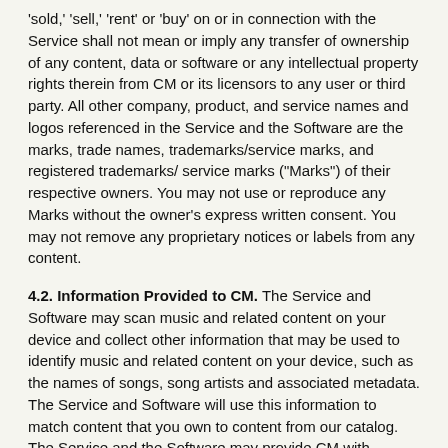'sold,' 'sell,' 'rent' or 'buy' on or in connection with the Service shall not mean or imply any transfer of ownership of any content, data or software or any intellectual property rights therein from CM or its licensors to any user or third party. All other company, product, and service names and logos referenced in the Service and the Software are the marks, trade names, trademarks/service marks, and registered trademarks/ service marks ("Marks") of their respective owners. You may not use or reproduce any Marks without the owner's express written consent. You may not remove any proprietary notices or labels from any content.
4.2. Information Provided to CM. The Service and Software may scan music and related content on your device and collect other information that may be used to identify music and related content on your device, such as the names of songs, song artists and associated metadata. The Service and Software will use this information to match content that you own to content from our catalog. The Service and the Software may provide CM with information relating to your use and the performance of the Service and the Software, as well as information regarding the devices on which you download and use the Service and the Software. For example, this information may include the device type, mobile network connectivity, IP address of the device, information about your internet service provider, information about when the Software is launched, individual session lengths for use of the Service, information about